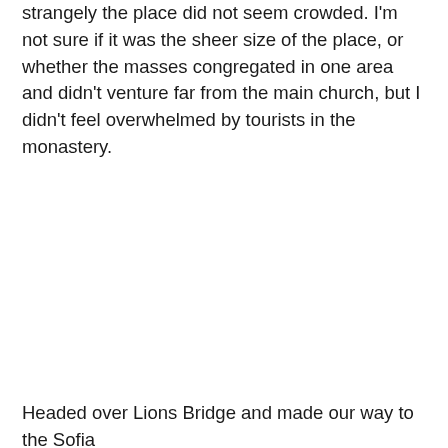strangely the place did not seem crowded. I'm not sure if it was the sheer size of the place, or whether the masses congregated in one area and didn't venture far from the main church, but I didn't feel overwhelmed by tourists in the monastery.
Headed over Lions Bridge and made our way to the Sofia